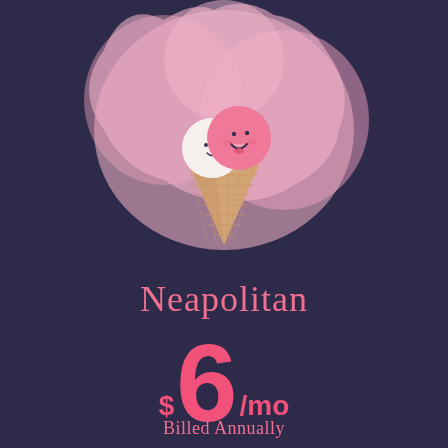[Figure (illustration): Cute kawaii ice cream cone illustration with two scoops (white and pink) with smiley faces, set against a large pink blob/cloud shape on a dark navy background]
Neapolitan
$ 6 /mo
Billed Annually